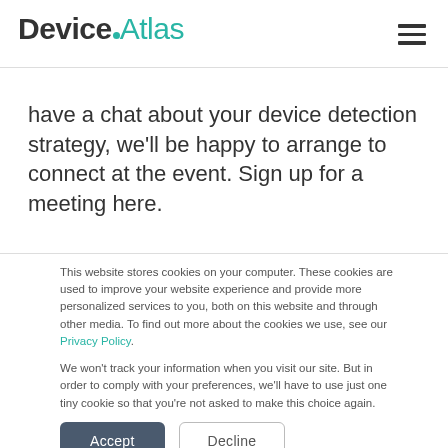DeviceAtlas
have a chat about your device detection strategy, we'll be happy to arrange to connect at the event. Sign up for a meeting here.
This website stores cookies on your computer. These cookies are used to improve your website experience and provide more personalized services to you, both on this website and through other media. To find out more about the cookies we use, see our Privacy Policy.
We won't track your information when you visit our site. But in order to comply with your preferences, we'll have to use just one tiny cookie so that you're not asked to make this choice again.